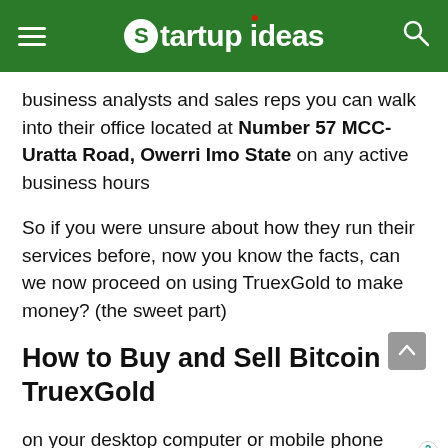Startup Ideas
business analysts and sales reps you can walk into their office located at Number 57 MCC-Uratta Road, Owerri Imo State on any active business hours
So if you were unsure about how they run their services before, now you know the facts, can we now proceed on using TruexGold to make money? (the sweet part)
How to Buy and Sell Bitcoin on TruexGold
on your desktop computer or mobile phone browser